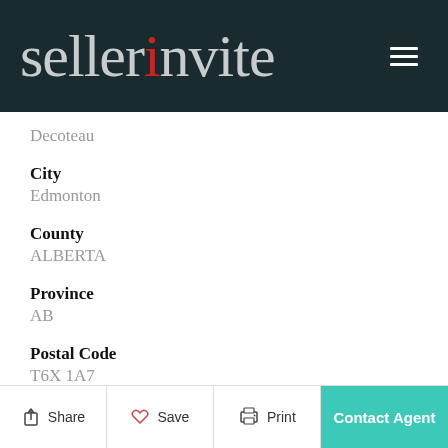sellerinvite
Decoteau
City
Edmonton
County
ALBERTA
Province
AB
Postal Code
T6X 1A7
Share  Save  Print  Contact Agent